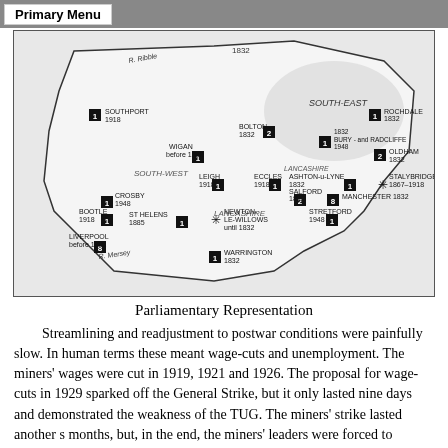Primary Menu
[Figure (map): Map of Lancashire showing parliamentary representation for various towns. Locations labeled include Southport 1918, Rochdale 1832, Bolton 1832, Bury and Radcliffe 1948, Oldham 1832, Wigan before 1832, Leigh 1918, Eccles 1918, Ashton-u-Lyne 1832, Stalybridge 1867-1918, Crosby 1948, Salford 1832, Manchester 1832, Bootle 1918, Newton-le-Willows until 1832, Stretford 1948, St Helens 1885, Liverpool before 1832, Warrington 1832. Areas labeled: South-West Lancashire, South-East, Lancashire. Rivers labeled: R. Ribble, R. Mersey. Numbers in black boxes indicate seats (1, 2, 8).]
Parliamentary Representation
Streamlining and readjustment to postwar conditions were painfully slow. In human terms these meant wage-cuts and unemployment. The miners' wages were cut in 1919, 1921 and 1926. The proposal for wage-cuts in 1929 sparked off the General Strike, but it only lasted nine days and demonstrated the weakness of the TUG. The miners' strike lasted another s months, but, in the end, the miners' leaders were forced to